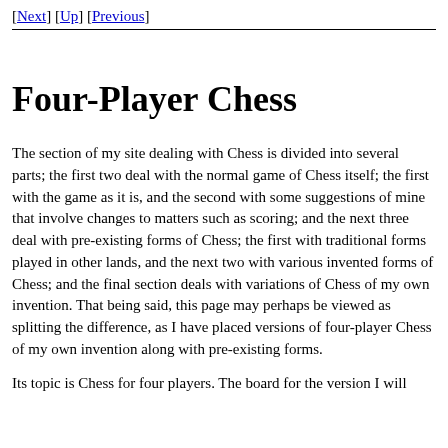[Next] [Up] [Previous]
Four-Player Chess
The section of my site dealing with Chess is divided into several parts; the first two deal with the normal game of Chess itself; the first with the game as it is, and the second with some suggestions of mine that involve changes to matters such as scoring; and the next three deal with pre-existing forms of Chess; the first with traditional forms played in other lands, and the next two with various invented forms of Chess; and the final section deals with variations of Chess of my own invention. That being said, this page may perhaps be viewed as splitting the difference, as I have placed versions of four-player Chess of my own invention along with pre-existing forms.
Its topic is Chess for four players. The board for the version I will